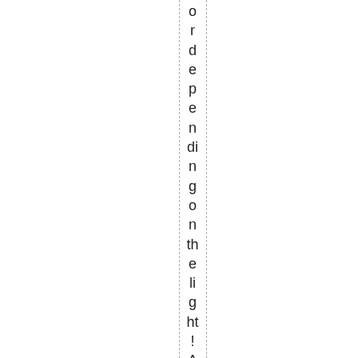ordependingon the light! As luckwo